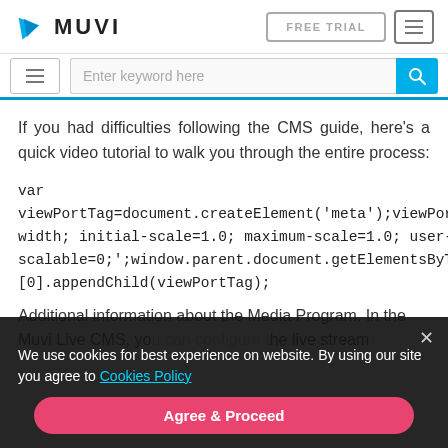MUVI | FREE TRIAL | Navigation menu | Search bar
If you had difficulties following the CMS guide, here’s a quick video tutorial to walk you through the entire process:
We use cookies for best experience on website. By using our site you agree to Cookies Policy
Additional information about the Media Program. In the Muvi Live CMS, yo... he live stream